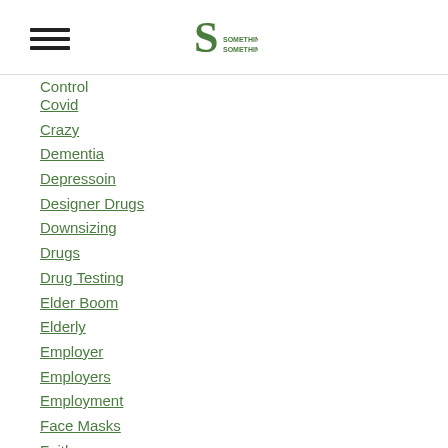[Hamburger menu icon] [S logo]
Covid
Crazy
Dementia
Depressoin
Designer Drugs
Downsizing
Drugs
Drug Testing
Elder Boom
Elderly
Employer
Employers
Employment
Face Masks
Faith
Families
Family Medical Leave Act
Fight Or Flight Response